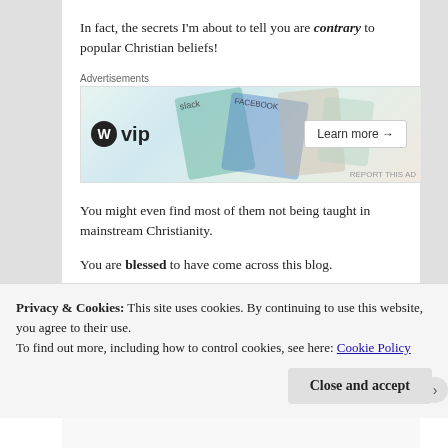In fact, the secrets I'm about to tell you are contrary to popular Christian beliefs!
[Figure (screenshot): WordPress VIP advertisement banner with social media logos and Learn more button]
You might even find most of them not being taught in mainstream Christianity.
You are blessed to have come across this blog.
Only a few people are able to stumble upon the truth.
Privacy & Cookies: This site uses cookies. By continuing to use this website, you agree to their use.
To find out more, including how to control cookies, see here: Cookie Policy